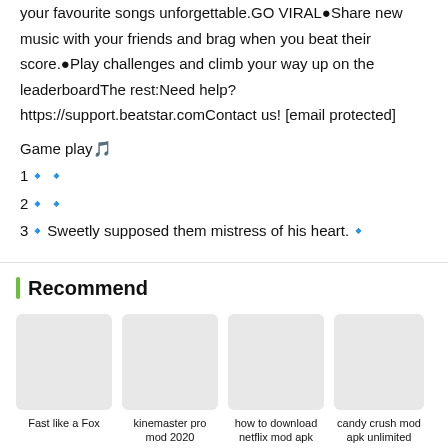your favourite songs unforgettable.GO VIRAL●Share new music with your friends and brag when you beat their score.●Play challenges and climb your way up on the leaderboardThe rest:Need help? https://support.beatstar.comContact us! [email protected]
Game play🎵
1🔷🔷
2🔷🔷
3🔷Sweetly supposed them mistress of his heart.🔷
Recommend
[Figure (illustration): App icon placeholder for Fast like a Fox]
Fast like a Fox
[Figure (illustration): App icon placeholder for kinemaster pro mod 2020]
kinemaster pro mod 2020
[Figure (illustration): App icon placeholder for how to download netflix mod apk]
how to download netflix mod apk
[Figure (illustration): App icon placeholder for candy crush mod apk unlimited everything]
candy crush mod apk unlimited everything